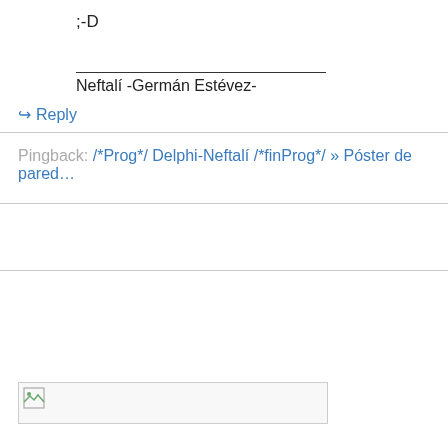;-D
Neftalí -Germán Estévez-
↳ Reply
Pingback: /*Prog*/ Delphi-Neftalí /*finProg*/ » Póster de pared…
[Figure (other): Broken image placeholder with small icon in a bordered rectangle]